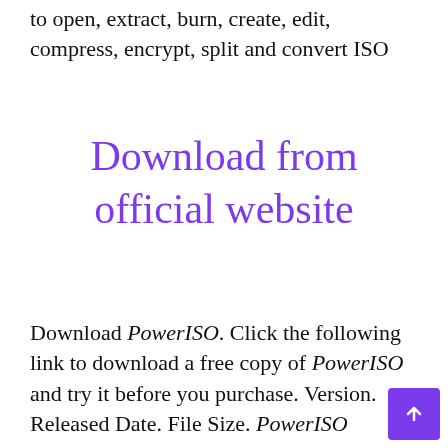to open, extract, burn, create, edit, compress, encrypt, split and convert ISO
Download from official website
Download PowerISO. Click the following link to download a free copy of PowerISO and try it before you purchase. Version. Released Date. File Size. PowerISO